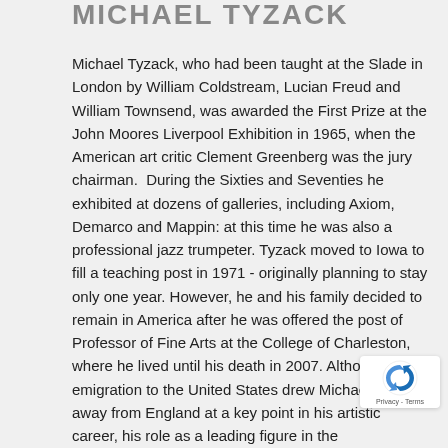MICHAEL TYZACK
Michael Tyzack, who had been taught at the Slade in London by William Coldstream, Lucian Freud and William Townsend, was awarded the First Prize at the John Moores Liverpool Exhibition in 1965, when the American art critic Clement Greenberg was the jury chairman.  During the Sixties and Seventies he exhibited at dozens of galleries, including Axiom, Demarco and Mappin: at this time he was also a professional jazz trumpeter. Tyzack moved to Iowa to fill a teaching post in 1971 - originally planning to stay only one year. However, he and his family decided to remain in America after he was offered the post of Professor of Fine Arts at the College of Charleston, where he lived until his death in 2007. Although his emigration to the United States drew Michael Tyzack away from England at a key point in his artistic career, his role as a leading figure in the development of British Abstraction during the ‘ 60s and ‘ 70s is evident from his exhibition record. His work is represented in a large number of public collections worldwide.